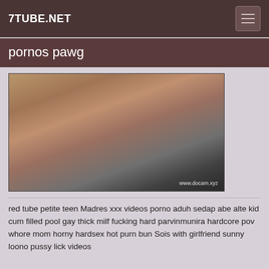7TUBE.NET
pornos pawg
[Figure (photo): Video thumbnail showing adult content from www.docam.xyz]
red tube petite teen Madres xxx videos porno aduh sedap abe alte kid cum filled pool gay thick milf fucking hard parvinmunira hardcore pov whore mom horny hardsex hot purn bun Sois with girlfriend sunny loono pussy lick videos